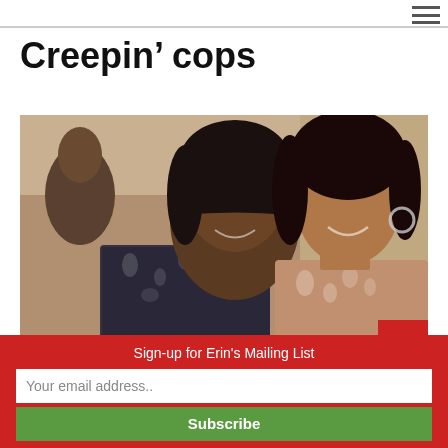Creepin’ cops
[Figure (photo): Two smiling women at what appears to be a social event or party. The woman on the left has straight black hair and is wearing a patterned top. The woman on the right has curly hair and is also wearing a patterned top with hoop earrings.]
Sign-up for Erin's Mailing List
Your email address..
Subscribe